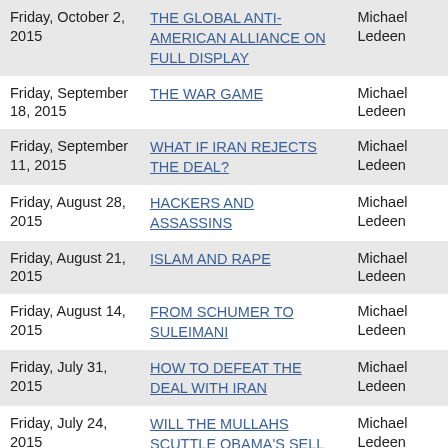| Date | Title | Author |
| --- | --- | --- |
| Friday, October 2, 2015 | THE GLOBAL ANTI-AMERICAN ALLIANCE ON FULL DISPLAY | Michael Ledeen |
| Friday, September 18, 2015 | THE WAR GAME | Michael Ledeen |
| Friday, September 11, 2015 | WHAT IF IRAN REJECTS THE DEAL? | Michael Ledeen |
| Friday, August 28, 2015 | HACKERS AND ASSASSINS | Michael Ledeen |
| Friday, August 21, 2015 | ISLAM AND RAPE | Michael Ledeen |
| Friday, August 14, 2015 | FROM SCHUMER TO SULEIMANI | Michael Ledeen |
| Friday, July 31, 2015 | HOW TO DEFEAT THE DEAL WITH IRAN | Michael Ledeen |
| Friday, July 24, 2015 | WILL THE MULLAHS SCUTTLE OBAMA'S SELL | Michael Ledeen |